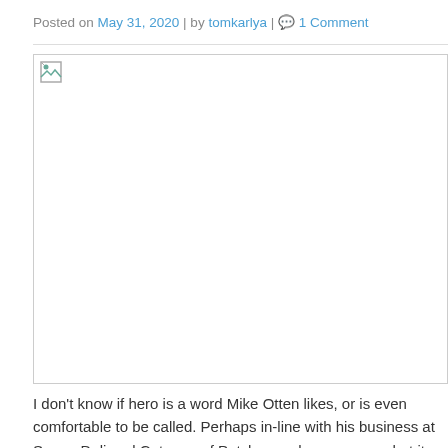Posted on May 31, 2020 | by tomkarlya | 1 Comment
[Figure (photo): Broken/unloaded image placeholder occupying large area below the meta line]
I don't know if hero is a word Mike Otten likes, or is even comfortable to be called. Perhaps in-line with his business at Sequa Deli and Caterers of Patchogue, hero means what it should, a great sandwich and surely Mike's store is one of the best at that.
Perhaps Mike is just a really smart business man. But if you know Mike, you